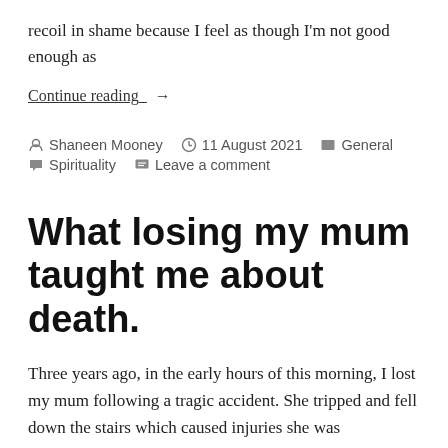recoil in shame because I feel as though I'm not good enough as
Continue reading →
Shaneen Mooney   11 August 2021   General   Spirituality   Leave a comment
What losing my mum taught me about death.
Three years ago, in the early hours of this morning, I lost my mum following a tragic accident. She tripped and fell down the stairs which caused injuries she was